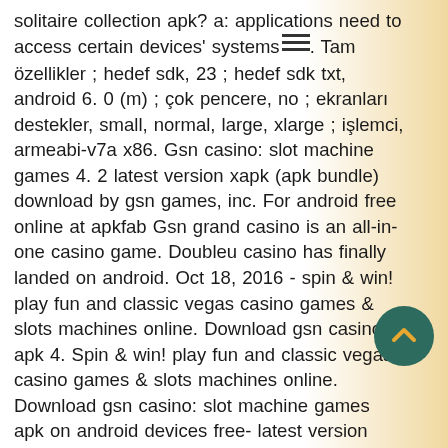solitaire collection apk? a: applications need to access certain devices' systems. Tam özellikler ; hedef sdk, 23 ; hedef sdk txt, android 6. 0 (m) ; çok pencere, no ; ekranları destekler, small, normal, large, xlarge ; işlemci, armeabi-v7a x86. Gsn casino: slot machine games 4. 2 latest version xapk (apk bundle) download by gsn games, inc. For android free online at apkfab Gsn grand casino is an all-in-one casino game. Doubleu casino has finally landed on android. Oct 18, 2016 - spin &amp; win! play fun and classic vegas casino games &amp; slots machines online. Download gsn casino apk 4. Spin &amp; win! play fun and classic vegas casino games &amp; slots machines online. Download gsn casino: slot machine games apk on android devices free- latest version available. Android app by gsn games, inc. 15 мин · материалы: na, na1. Download and install bluestacks on your pc2. Complete